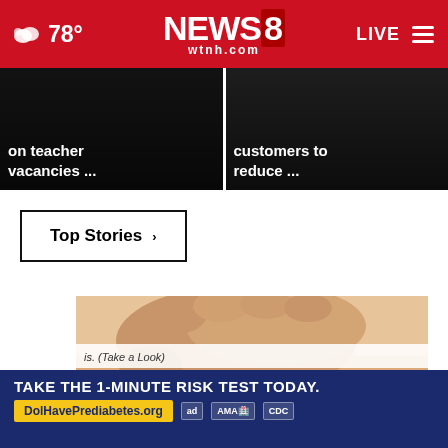78° NEWS8 wtnh.com LIVE
on teacher vacancies ...
customers to reduce ...
Top Stories ›
[Figure (photo): Close-up photo of a hand examining a skin mole on a person's abdomen]
is. (Take a Look)
TAKE THE 1-MINUTE RISK TEST TODAY. DolHavePrediabetes.org ad AMA CDC